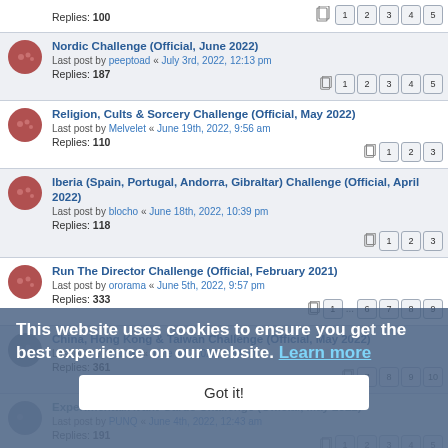Nordic Challenge (Official, June 2022) | Last post by peeptoad « July 3rd, 2022, 12:13 pm | Replies: 187 | Pages: 1 2 3 4 5
Religion, Cults & Sorcery Challenge (Official, May 2022) | Last post by Melvelet « June 19th, 2022, 9:56 am | Replies: 110 | Pages: 1 2 3
Iberia (Spain, Portugal, Andorra, Gibraltar) Challenge (Official, April 2022) | Last post by blocho « June 18th, 2022, 10:39 pm | Replies: 118 | Pages: 1 2 3
Run The Director Challenge (Official, February 2021) | Last post by ororama « June 5th, 2022, 9:57 pm | Replies: 333 | Pages: 1 ... 6 7 8 9
China, Hong Kong & Taiwan Challenge (Official, May 2022) | Last post by gunnar « June 4th, 2022, 2:54 am | Replies: 361 | Pages: 7 8 9 10
Experimental/Avant-Garde Challenge (Official, May 2022) | Last post by PUNQ « June 4th, 2022, 12:43 am | Replies: 191 | Pages: 1 2 3 4 5
Experimental/Avant-Garde Challenge (Official, February 2021) | Last post by lynchs « May 13th, 2022, 11:45 pm | Replies: 293
This website uses cookies to ensure you get the best experience on our website. Learn more
Got it!